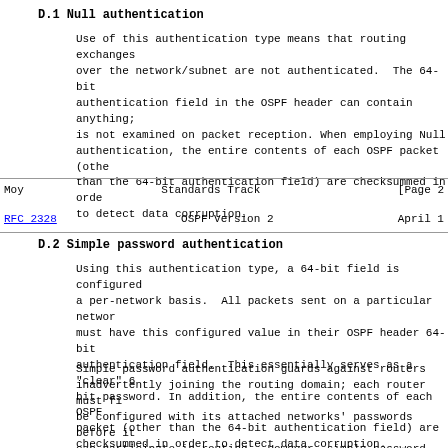D.1 Null authentication
Use of this authentication type means that routing exchanges over the network/subnet are not authenticated.  The 64-bit authentication field in the OSPF header can contain anything; is not examined on packet reception. When employing Null authentication, the entire contents of each OSPF packet (other than the 64-bit authentication field) are checksummed in order to detect data corruption.
Moy                         Standards Track                    [Page 2
RFC 2328                    OSPF Version 2                     April 1
D.2 Simple password authentication
Using this authentication type, a 64-bit field is configured a per-network basis.  All packets sent on a particular network must have this configured value in their OSPF header 64-bit authentication field.  This essentially serves as a "clear" 64-bit password. In addition, the entire contents of each OSPF packet (other than the 64-bit authentication field) are checksummed in order to detect data corruption.
Simple password authentication guards against routers inadvertently joining the routing domain; each router must first be configured with its attached networks' passwords before it can participate in routing.  However, simple password authentication is vulnerable to passive attacks currently widespread in the Internet (see [Ref16]). Anyone with physical access to the network can learn the password and compromise